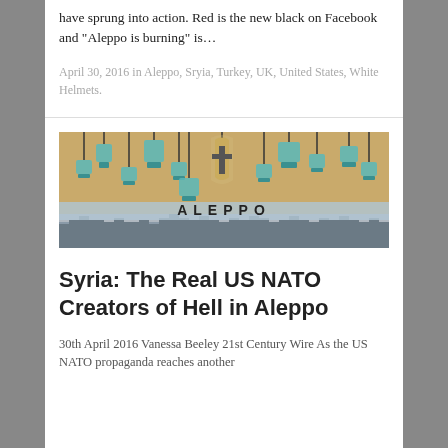have sprung into action. Red is the new black on Facebook and "Aleppo is burning" is…
April 30, 2016 in Aleppo, Sryia, Turkey, UK, United States, White Helmets.
[Figure (photo): Image with text ALEPPO showing hanging light fixtures against a yellow wall above an aerial view of a cityscape]
Syria: The Real US NATO Creators of Hell in Aleppo
30th April 2016 Vanessa Beeley  21st Century Wire As the US NATO propaganda reaches another